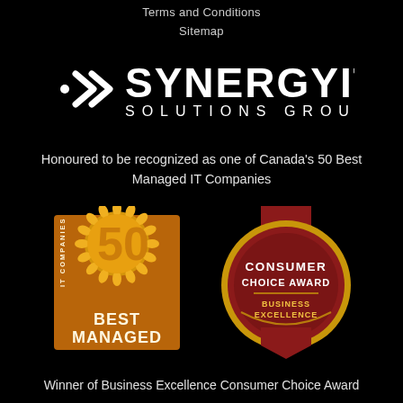Terms and Conditions
Sitemap
[Figure (logo): SynergyIT Solutions Group logo with white double-chevron arrow and white text]
Honoured to be recognized as one of Canada's 50 Best Managed IT Companies
[Figure (illustration): Two award badges: '50 Best Managed IT Companies' badge in gold/orange and 'Consumer Choice Award Business Excellence' medallion in gold and red]
Winner of Business Excellence Consumer Choice Award